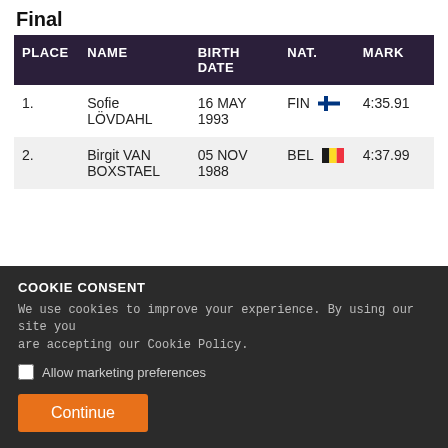Final
| PLACE | NAME | BIRTH DATE | NAT. | MARK |
| --- | --- | --- | --- | --- |
| 1. | Sofie LÖVDAHL | 16 MAY 1993 | FIN | 4:35.91 |
| 2. | Birgit VAN BOXSTAEL | 05 NOV 1988 | BEL | 4:37.99 |
COOKIE CONSENT
We use cookies to improve your experience. By using our site you are accepting our Cookie Policy.
☐ Allow marketing preferences
Continue